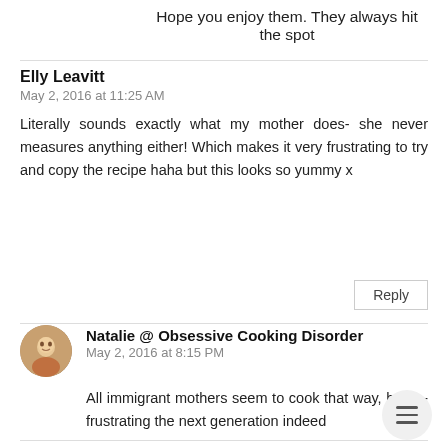Hope you enjoy them. They always hit the spot
Elly Leavitt
May 2, 2016 at 11:25 AM
Literally sounds exactly what my mother does- she never measures anything either! Which makes it very frustrating to try and copy the recipe haha but this looks so yummy x
Reply
Natalie @ Obsessive Cooking Disorder
May 2, 2016 at 8:15 PM
All immigrant mothers seem to cook that way, haha - frustrating the next generation indeed